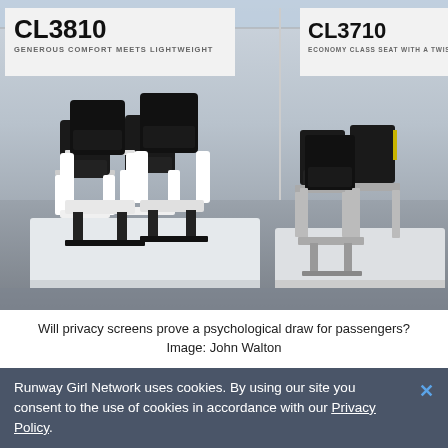[Figure (photo): Exhibition photo showing two aircraft seat models on display platforms. Left: CL3810 seats with white frames and dark upholstery labeled 'GENEROUS COMFORT MEETS LIGHTWEIGHT'. Right: CL3710 seats labeled 'ECONOMY CLASS SEAT WITH A TWIST'. White signage panels visible in background.]
Will privacy screens prove a psychological draw for passengers? Image: John Walton
Runway Girl Network uses cookies. By using our site you consent to the use of cookies in accordance with our Privacy Policy.